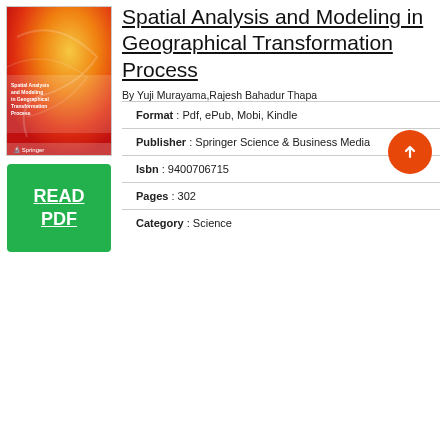[Figure (illustration): Book cover of 'Spatial Analysis and Modeling in Geographical Transformation Process' with orange/red gradient background and Springer logo]
[Figure (other): Green button with text READ PDF]
Spatial Analysis and Modeling in Geographical Transformation Process
By Yuji Murayama,Rajesh Bahadur Thapa
Format : Pdf, ePub, Mobi, Kindle
Publisher : Springer Science & Business Media
Isbn : 9400706715
Pages : 302
Category : Science